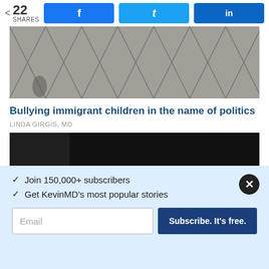22 SHARES | Facebook | Twitter | LinkedIn
[Figure (photo): Chain-link fence photo, top article image]
Bullying immigrant children in the name of politics
LINDA GIRGIS, MD
[Figure (photo): Dark image, second article photo]
✓ Join 150,000+ subscribers
✓ Get KevinMD's most popular stories
Email | Subscribe. It's free.